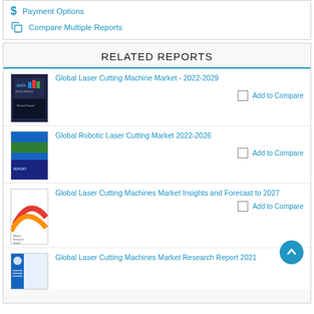Payment Options
Compare Multiple Reports
RELATED REPORTS
Global Laser Cutting Machine Market - 2022-2029
Add to Compare
Global Robotic Laser Cutting Market 2022-2026
Add to Compare
Global Laser Cutting Machines Market Insights and Forecast to 2027
Add to Compare
Global Laser Cutting Machines Market Research Report 2021